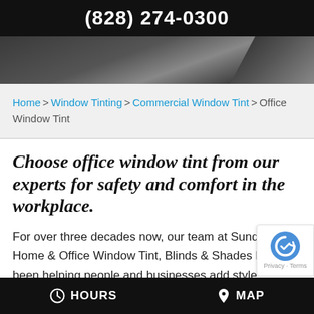(828) 274-0300
[Figure (photo): Hero image showing tinted window glass in dark tones]
Home > Window Tinting > Commercial Window Tint > Office Window Tint
Choose office window tint from our experts for safety and comfort in the workplace.
For over three decades now, our team at Sundown Home & Office Window Tint, Blinds & Shades has been helping people and businesses add style, elegance and efficiency to their
HOURS   MAP